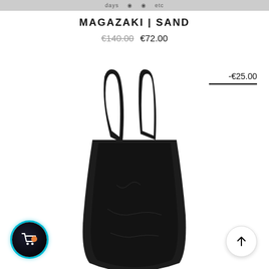days
MAGAZAKI | SAND
€140.00  €72.00
-€25.00
[Figure (photo): A dark black fabric tote bag with two handles, photographed on a white background, shown from a side angle emphasizing the silhouette of the bag handles rising above the main body.]